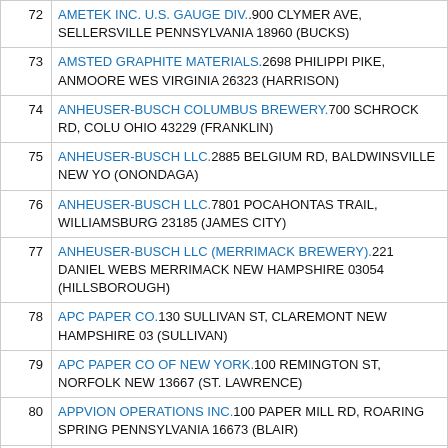| # | Company / Address |
| --- | --- |
| 72 | AMETEK INC. U.S. GAUGE DIV..900 CLYMER AVE, SELLERSVILLE PENNSYLVANIA 18960 (BUCKS) |
| 73 | AMSTED GRAPHITE MATERIALS.2698 PHILIPPI PIKE, ANMOORE WEST VIRGINIA 26323 (HARRISON) |
| 74 | ANHEUSER-BUSCH COLUMBUS BREWERY.700 SCHROCK RD, COLUMBUS OHIO 43229 (FRANKLIN) |
| 75 | ANHEUSER-BUSCH LLC.2885 BELGIUM RD, BALDWINSVILLE NEW YORK (ONONDAGA) |
| 76 | ANHEUSER-BUSCH LLC.7801 POCAHONTAS TRAIL, WILLIAMSBURG 23185 (JAMES CITY) |
| 77 | ANHEUSER-BUSCH LLC (MERRIMACK BREWERY).221 DANIEL WEBSTER HWY, MERRIMACK NEW HAMPSHIRE 03054 (HILLSBOROUGH) |
| 78 | APC PAPER CO.130 SULLIVAN ST, CLAREMONT NEW HAMPSHIRE 03 (SULLIVAN) |
| 79 | APC PAPER CO OF NEW YORK.100 REMINGTON ST, NORFOLK NEW YORK 13667 (ST. LAWRENCE) |
| 80 | APPVION OPERATIONS INC.100 PAPER MILL RD, ROARING SPRING PENNSYLVANIA 16673 (BLAIR) |
| 81 | ARBOR PRESERVATIVE SYSTEMS LLC.1471 CHANNEL AVE, MEMPHIS TENNESSEE 38109 (SHELBY) |
| 82 | ARCONIC INC.45 COUNTY ROUTE 42, MASSENA NEW YORK 13662 (ST. LAWRENCE) |
| 83 | ARCONIC TENNESSEE LLC.2300 N WRIGHT RD, ALCOA TENNESSEE (BLOUNT) |